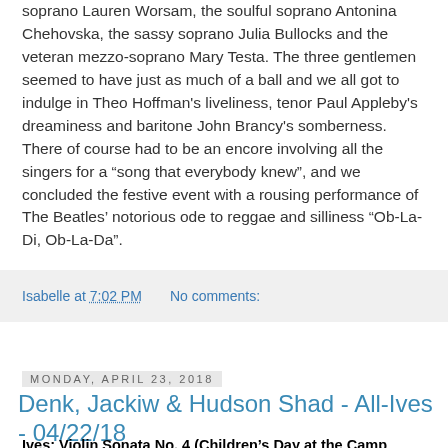soprano Lauren Worsam, the soulful soprano Antonina Chehovska, the sassy soprano Julia Bullocks and the veteran mezzo-soprano Mary Testa. The three gentlemen seemed to have just as much of a ball and we all got to indulge in Theo Hoffman's liveliness, tenor Paul Appleby's dreaminess and baritone John Brancy's somberness. There of course had to be an encore involving all the singers for a “song that everybody knew”, and we concluded the festive event with a rousing performance of The Beatles’ notorious ode to reggae and silliness “Ob-La-Di, Ob-La-Da”.
Isabelle at 7:02 PM   No comments:
Monday, April 23, 2018
Denk, Jackiw & Hudson Shad - All-Ives - 04/22/18
Ives: Violin Sonata No. 4 (Children’s Day at the Camp Meeting)
Hymns: